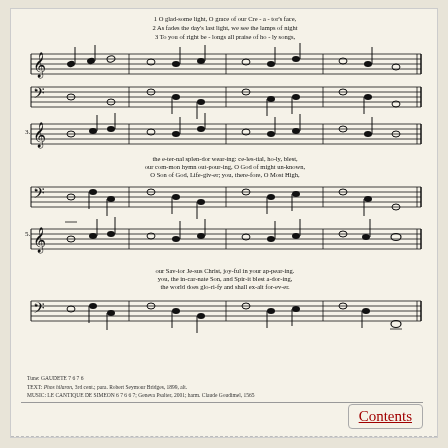[Figure (illustration): Sheet music for a hymn showing treble and bass clef staves with musical notation across three systems. Lyrics below each system with three verses: verse 1 'O gladsome light, O grace of our Creator's face', verse 2 'As fades the day's last light, we see the lamps of night', verse 3 'To you of right be-longs all praise of ho-ly songs'; second system continues with 'the eternal splendor wearing: celestial, holy, blest', 'our common hymn out-pouring, O God of might unknown', 'O Son of God, Life-giver; you, therefore, O Most High'; third system ends with 'our Savior Jesus Christ, joyful in your appearing', 'you, the incarnate Son, and Spirit blest a-doring', 'the world does glorify and shall exalt for-ever'.]
Tune: GAUDETE 7 6 7 6
TEXT: Phos hilaron, 3rd cent.; para. Robert Seymour Bridges, 1899, alt.
MUSIC: LE CANTIQUE DE SIMEON 6 7 6 6 7; Geneva Psalter, 2001; harm. Claude Goudimel, 1565
Contents